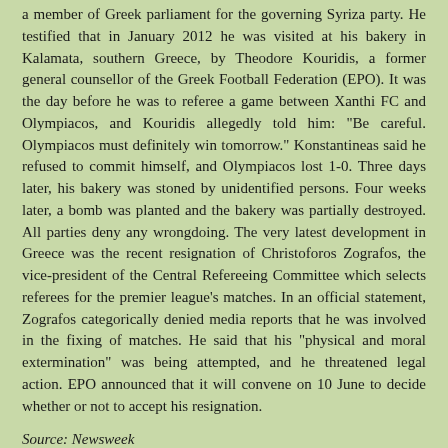a member of Greek parliament for the governing Syriza party. He testified that in January 2012 he was visited at his bakery in Kalamata, southern Greece, by Theodore Kouridis, a former general counsellor of the Greek Football Federation (EPO). It was the day before he was to referee a game between Xanthi FC and Olympiacos, and Kouridis allegedly told him: "Be careful. Olympiacos must definitely win tomorrow." Konstantineas said he refused to commit himself, and Olympiacos lost 1-0. Three days later, his bakery was stoned by unidentified persons. Four weeks later, a bomb was planted and the bakery was partially destroyed. All parties deny any wrongdoing. The very latest development in Greece was the recent resignation of Christoforos Zografos, the vice-president of the Central Refereeing Committee which selects referees for the premier league's matches. In an official statement, Zografos categorically denied media reports that he was involved in the fixing of matches. He said that his "physical and moral extermination" was being attempted, and he threatened legal action. EPO announced that it will convene on 10 June to decide whether or not to accept his resignation.
Source: Newsweek